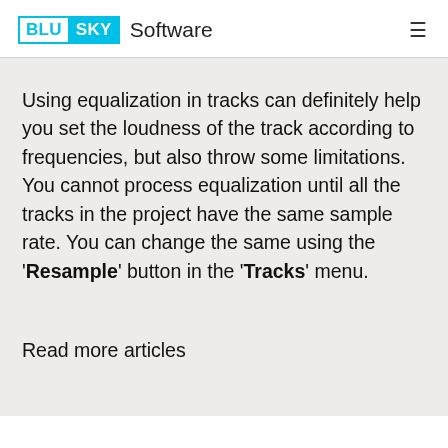BLU SKY Software
Using equalization in tracks can definitely help you set the loudness of the track according to frequencies, but also throw some limitations. You cannot process equalization until all the tracks in the project have the same sample rate. You can change the same using the 'Resample' button in the 'Tracks' menu.
Read more articles